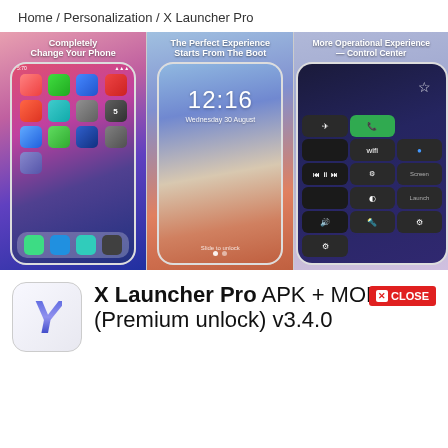Home / Personalization / X Launcher Pro
[Figure (screenshot): Three smartphone screenshots showing X Launcher Pro features: (1) Home screen with app icons and colorful wallpaper, labeled 'Completely Change Your Phone'; (2) Lock screen showing time 12:16 Wednesday 30 August; (3) Control Center with dark rounded buttons.]
[Figure (logo): X Launcher Pro app icon with large italic Y letter in blue gradient on white rounded square background]
X Launcher Pro APK + MOD (Premium unlock) v3.4.0